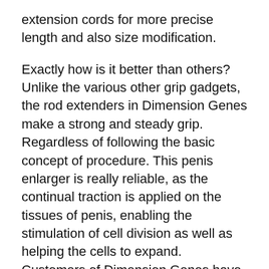extension cords for more precise length and also size modification.
Exactly how is it better than others? Unlike the various other grip gadgets, the rod extenders in Dimension Genes make a strong and steady grip. Regardless of following the basic concept of procedure. This penis enlarger is really reliable, as the continual traction is applied on the tissues of penis, enabling the stimulation of cell division as well as helping the cells to expand. Customers of Dimension Genes have actually verified the excellent healing effects. They have also confirmed that it not only boosts the length and also girth but also changes the curvature of your penis.
Moreover...